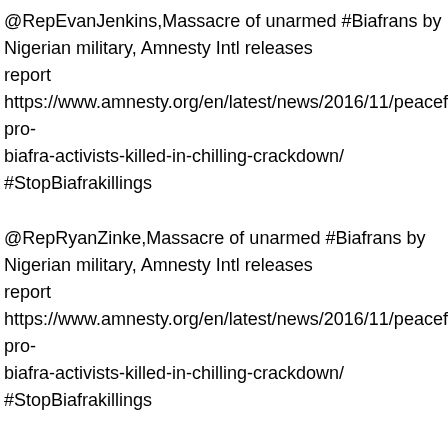@RepEvanJenkins,Massacre of unarmed #Biafrans by Nigerian military, Amnesty Intl releases report  https://www.amnesty.org/en/latest/news/2016/11/peaceful-pro-biafra-activists-killed-in-chilling-crackdown/ #StopBiafrakillings
@RepRyanZinke,Massacre of unarmed #Biafrans by Nigerian military, Amnesty Intl releases report  https://www.amnesty.org/en/latest/news/2016/11/peaceful-pro-biafra-activists-killed-in-chilling-crackdown/ #StopBiafrakillings
@RepComstock,Massacre of unarmed #Biafrans by Nigerian military, Amnesty Intl releases report  https://www.amnesty.org/en/latest/news/2016/11/peaceful-pro-biafra-activists-killed-in-chilling-crackdown/ #StopBiafrakillings